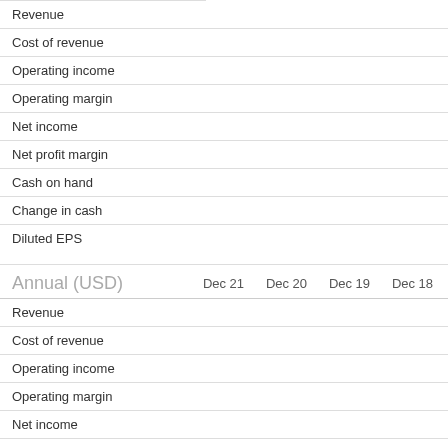|  |  |  |  |  |
| --- | --- | --- | --- | --- |
| Revenue |  |  |  |  |
| Cost of revenue |  |  |  |  |
| Operating income |  |  |  |  |
| Operating margin |  |  |  |  |
| Net income |  |  |  |  |
| Net profit margin |  |  |  |  |
| Cash on hand |  |  |  |  |
| Change in cash |  |  |  |  |
| Diluted EPS |  |  |  |  |
| Annual (USD) | Dec 21 | Dec 20 | Dec 19 | Dec 18 |
| --- | --- | --- | --- | --- |
| Revenue |  |  |  |  |
| Cost of revenue |  |  |  |  |
| Operating income |  |  |  |  |
| Operating margin |  |  |  |  |
| Net income |  |  |  |  |
| Net profit margin |  |  |  |  |